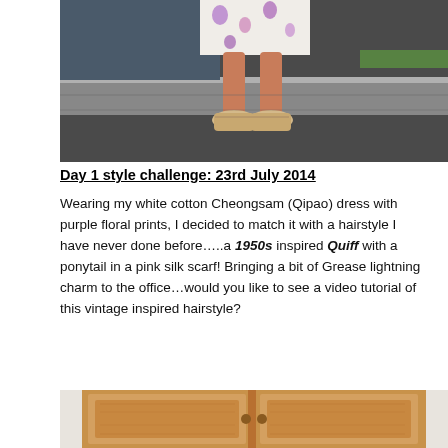[Figure (photo): Photo showing the lower body of a person wearing a white floral dress and cream/gold strappy wedge sandals, standing on pavement near a curb.]
Day 1 style challenge: 23rd July 2014
Wearing my white cotton Cheongsam (Qipao) dress with purple floral prints, I decided to match it with a hairstyle I have never done before…..a 1950s inspired Quiff with a ponytail in a pink silk scarf! Bringing a bit of Grease lightning charm to the office…would you like to see a video tutorial of this vintage inspired hairstyle?
[Figure (photo): Photo showing the top of a pine wood wardrobe or cabinet with panel doors, partially visible at the bottom of the page.]